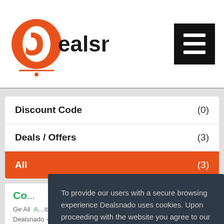dealsnado
Discount Code (0)
Deals / Offers (3)
All (3)
Co...
Ge All ... Nutrition coupon and promo codes exclusive at Dealsnado – free delivery codes, clearance sale offers – Save money on Internet Service...
To provide our users with a secure browsing experience Dealsnado uses cookies. Upon proceeding with the website you agree to our privacy policy.
Okay, Thanks